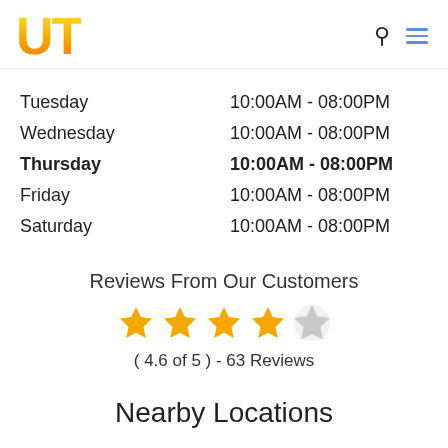UT [logo] with search and menu icons
| Day | Hours |
| --- | --- |
| Tuesday | 10:00AM - 08:00PM |
| Wednesday | 10:00AM - 08:00PM |
| Thursday (today) | 10:00AM - 08:00PM |
| Friday | 10:00AM - 08:00PM |
| Saturday | 10:00AM - 08:00PM |
Reviews From Our Customers
[Figure (other): 5-star rating display showing 4 filled orange stars and 1 empty/grey star]
( 4.6 of 5 ) - 63 Reviews
Nearby Locations